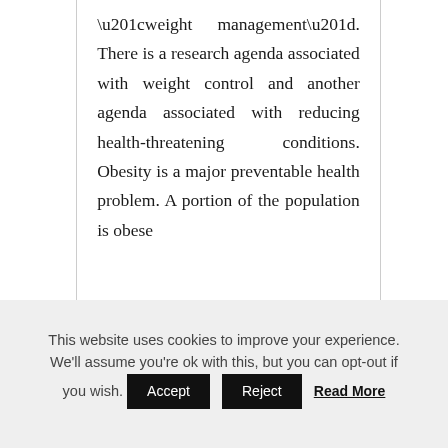“weight management”. There is a research agenda associated with weight control and another agenda associated with reducing health-threatening conditions. Obesity is a major preventable health problem. A portion of the population is obese
This website uses cookies to improve your experience. We’ll assume you’re ok with this, but you can opt-out if you wish. Accept Reject Read More